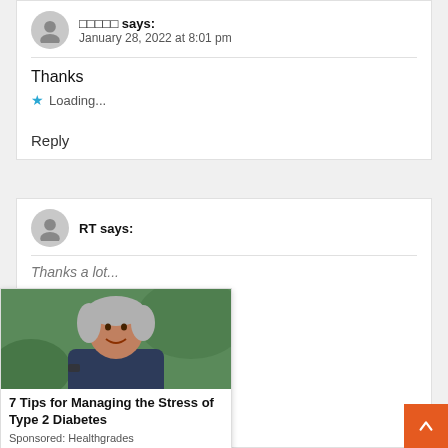□□□□□ says:
January 28, 2022 at 8:01 pm
Thanks
Loading...
Reply
RT says:
[Figure (photo): Advertisement photo showing a woman with gray hair smiling outdoors]
7 Tips for Managing the Stress of Type 2 Diabetes
Sponsored: Healthgrades
Thanks a lot...
Loading...